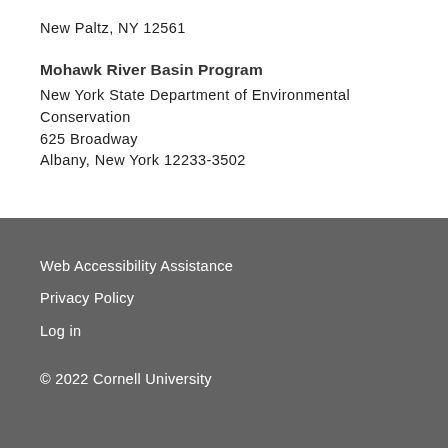New Paltz, NY 12561
Mohawk River Basin Program
New York State Department of Environmental Conservation
625 Broadway
Albany, New York 12233-3502
Web Accessibility Assistance
Privacy Policy
Log in
© 2022 Cornell University